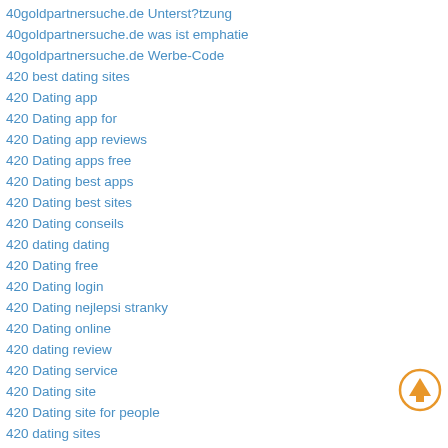40goldpartnersuche.de Unterst?tzung
40goldpartnersuche.de was ist emphatie
40goldpartnersuche.de Werbe-Code
420 best dating sites
420 Dating app
420 Dating app for
420 Dating app reviews
420 Dating apps free
420 Dating best apps
420 Dating best sites
420 Dating conseils
420 dating dating
420 Dating free
420 Dating login
420 Dating nejlepsi stranky
420 Dating online
420 dating review
420 Dating service
420 Dating site
420 Dating site for people
420 dating sites
420 Dating vrij
420 sites for free